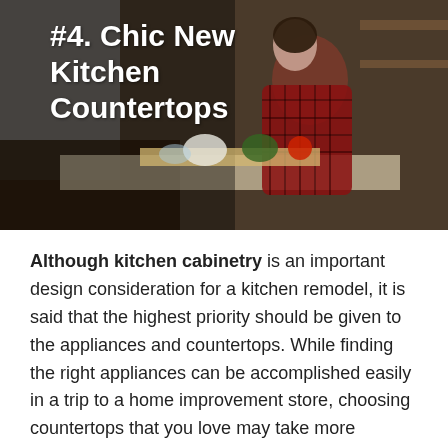[Figure (photo): Woman in red plaid shirt chopping vegetables on a kitchen counter with rustic dark cabinets and shelves in the background. Title overlay reads '#4. Chic New Kitchen Countertops' in white bold text on the left side of the image.]
Although kitchen cabinetry is an important design consideration for a kitchen remodel, it is said that the highest priority should be given to the appliances and countertops. While finding the right appliances can be accomplished easily in a trip to a home improvement store, choosing countertops that you love may take more patience. Not only must color and texture be taken into consideration, but the material of countertops is a vital decision. Quartz, granite or marble stone options are all very trendy, while